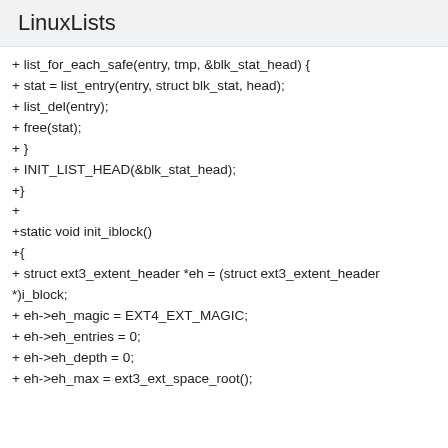LinuxLists
+ list_for_each_safe(entry, tmp, &blk_stat_head) {
+ stat = list_entry(entry, struct blk_stat, head);
+ list_del(entry);
+ free(stat);
+ }
+ INIT_LIST_HEAD(&blk_stat_head);
+}
+
+static void init_iblock()
+{
+ struct ext3_extent_header *eh = (struct ext3_extent_header *)i_block;
+ eh->eh_magic = EXT4_EXT_MAGIC;
+ eh->eh_entries = 0;
+ eh->eh_depth = 0;
+ eh->eh_max = ext3_ext_space_root();